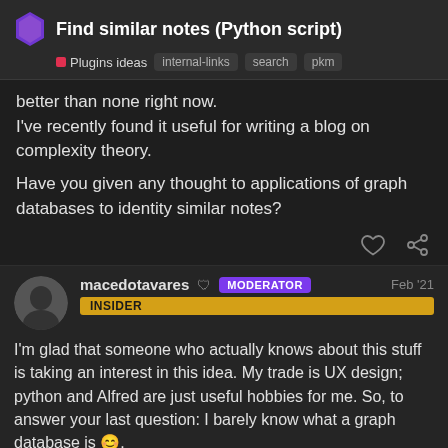Find similar notes (Python script) | Plugins ideas | internal-links | search | pkm
better than none right now.
I've recently found it useful for writing a blog on complexity theory.

Have you given any thought to applications of graph databases to identity similar notes?
macedotavares MODERATOR INSIDER Feb '21
I'm glad that someone who actually knows about this stuff is taking an interest in this idea. My trade is UX design; python and Alfred are just useful hobbies for me. So, to answer your last question: I barely know what a graph database is 😊.
Please keep me posted on your findin...
12 / 45